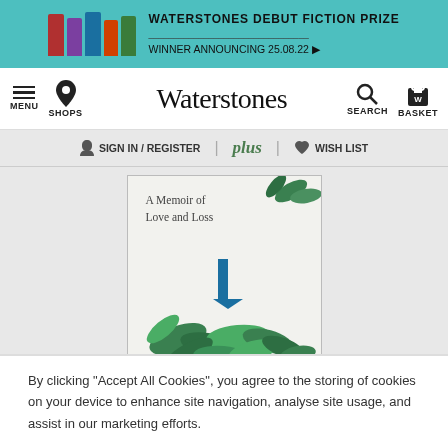[Figure (screenshot): Waterstones website banner advertising Debut Fiction Prize with colourful book spines]
MENU  SHOPS  Waterstones  SEARCH  BASKET
SIGN IN / REGISTER | plus | WISH LIST
[Figure (illustration): Book cover: A Memoir of Love and Loss with green leaf illustrations]
The Madness of Grief: A Memoir of Love and Loss (Hardback)
Reverend Richard Coles (author)
★★★★½  8 Reviews  Sign in to write a review
By clicking “Accept All Cookies”, you agree to the storing of cookies on your device to enhance site navigation, analyse site usage, and assist in our marketing efforts.